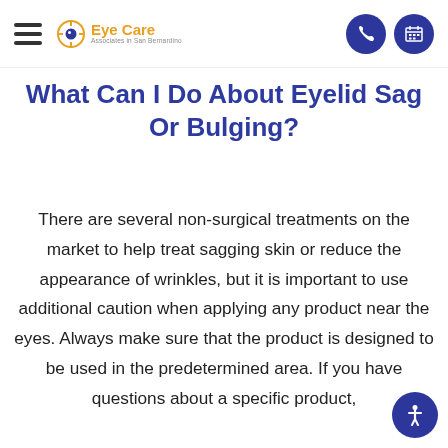Eye Care Associates in San Bernardino
What Can I Do About Eyelid Sag Or Bulging?
There are several non-surgical treatments on the market to help treat sagging skin or reduce the appearance of wrinkles, but it is important to use additional caution when applying any product near the eyes. Always make sure that the product is designed to be used in the predetermined area. If you have questions about a specific product,